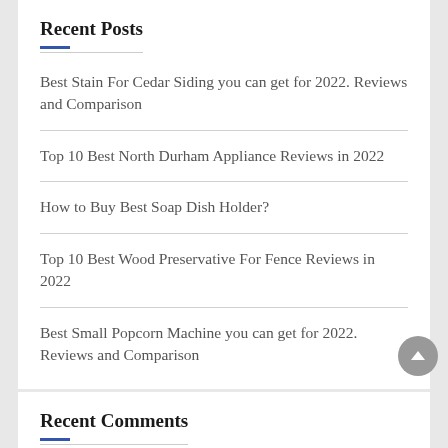Recent Posts
Best Stain For Cedar Siding you can get for 2022. Reviews and Comparison
Top 10 Best North Durham Appliance Reviews in 2022
How to Buy Best Soap Dish Holder?
Top 10 Best Wood Preservative For Fence Reviews in 2022
Best Small Popcorn Machine you can get for 2022. Reviews and Comparison
Recent Comments